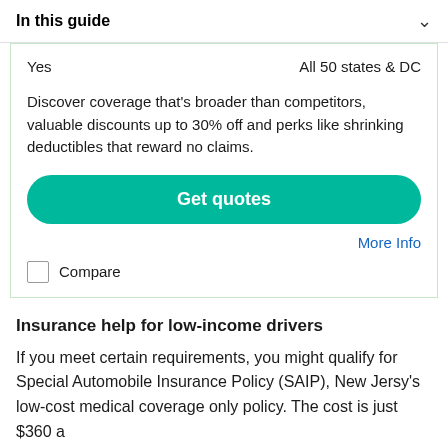In this guide
| Yes | All 50 states & DC |
Discover coverage that's broader than competitors, valuable discounts up to 30% off and perks like shrinking deductibles that reward no claims.
Get quotes
More Info
Compare
Insurance help for low-income drivers
If you meet certain requirements, you might qualify for Special Automobile Insurance Policy (SAIP), New Jersy's low-cost medical coverage only policy. The cost is just $360 a